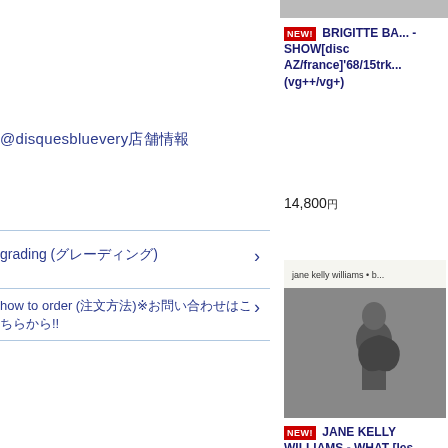@disquesbluevery（店舗情報）
grading (グレーディング)
how to order (注文方法)※お問い合わせはこちらから!!
お気に入り登録
[Figure (other): QR code]
[Figure (photo): Product image top strip]
NEW! BRIGITTE BA... - SHOW[disc AZ/france]'68/15trk... (vg++/vg+)
14,800円
[Figure (photo): Album cover photo of Jane Kelly Williams playing guitar, black and white]
NEW! JANE KELLY WILLIAMS - WHAT [les disques du crepuscule/bel]'88/... Inch (ex+/ex)
3,800円